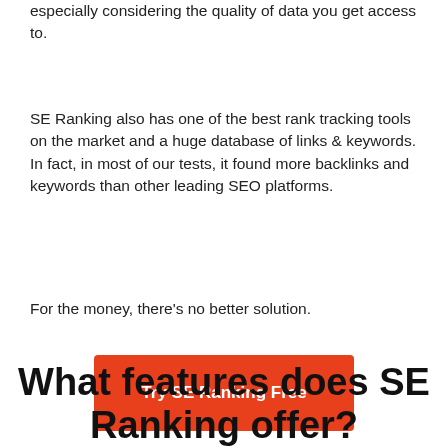especially considering the quality of data you get access to.
SE Ranking also has one of the best rank tracking tools on the market and a huge database of links & keywords. In fact, in most of our tests, it found more backlinks and keywords than other leading SEO platforms.
For the money, there’s no better solution.
[Figure (other): Red button labeled 'Try SE Ranking Free']
What features does SE Ranking offer?